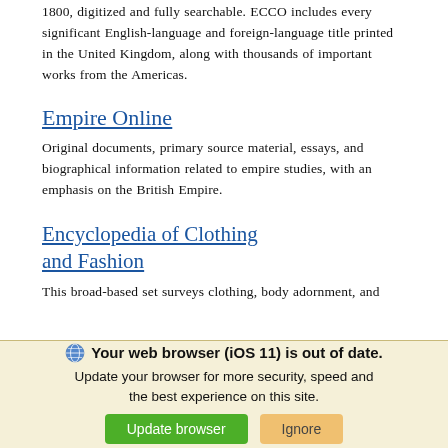1800, digitized and fully searchable. ECCO includes every significant English-language and foreign-language title printed in the United Kingdom, along with thousands of important works from the Americas.
Empire Online
Original documents, primary source material, essays, and biographical information related to empire studies, with an emphasis on the British Empire.
Encyclopedia of Clothing and Fashion
This broad-based set surveys clothing, body adornment, and
Your web browser (iOS 11) is out of date. Update your browser for more security, speed and the best experience on this site.